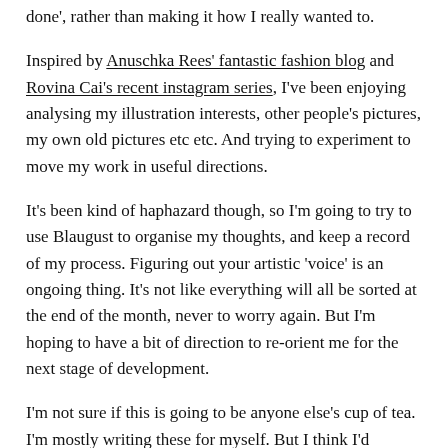done', rather than making it how I really wanted to.
Inspired by Anuschka Rees' fantastic fashion blog and Rovina Cai's recent instagram series, I've been enjoying analysing my illustration interests, other people's pictures, my own old pictures etc etc. And trying to experiment to move my work in useful directions.
It's been kind of haphazard though, so I'm going to try to use Blaugust to organise my thoughts, and keep a record of my process. Figuring out your artistic 'voice' is an ongoing thing. It's not like everything will all be sorted at the end of the month, never to worry again. But I'm hoping to have a bit of direction to re-orient me for the next stage of development.
I'm not sure if this is going to be anyone else's cup of tea. I'm mostly writing these for myself. But I think I'd